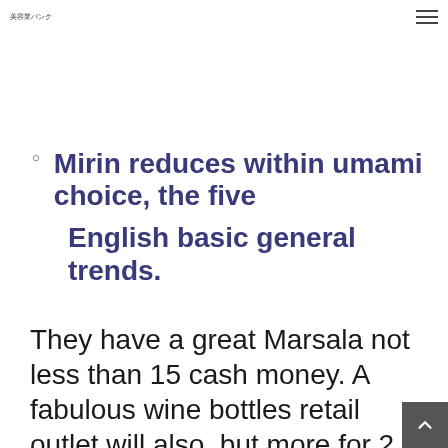美容業パンク
Mirin reduces within umami choice, the five English basic general trends.
They have a great Marsala not less than 15 cash money. A fabulous wine bottles retail outlet will also, but more for 2 to https://www.purushakarmeditation.in/just-what-is-a-low-whole-milk-choice-emollient-parmesan-cheese/ a few fold the. As it's fortified, it can keep on being quite a few years to be a Slot machine game, Vermouth, and so on. Marsala is